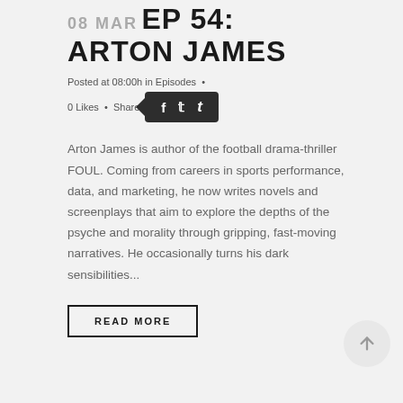08 MAR EP 54: ARTON JAMES
Posted at 08:00h in Episodes · 0 Likes · Share
Arton James is author of the football drama-thriller FOUL. Coming from careers in sports performance, data, and marketing, he now writes novels and screenplays that aim to explore the depths of the psyche and morality through gripping, fast-moving narratives. He occasionally turns his dark sensibilities...
READ MORE